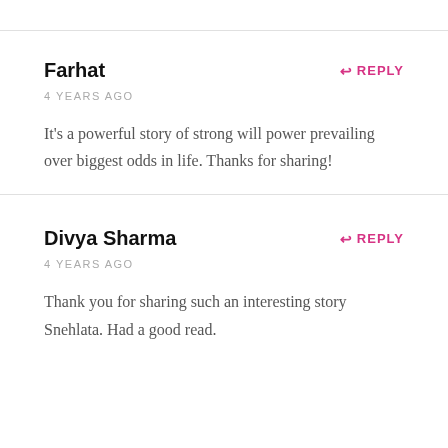Farhat
4 YEARS AGO
It's a powerful story of strong will power prevailing over biggest odds in life. Thanks for sharing!
Divya Sharma
4 YEARS AGO
Thank you for sharing such an interesting story Snehlata. Had a good read.